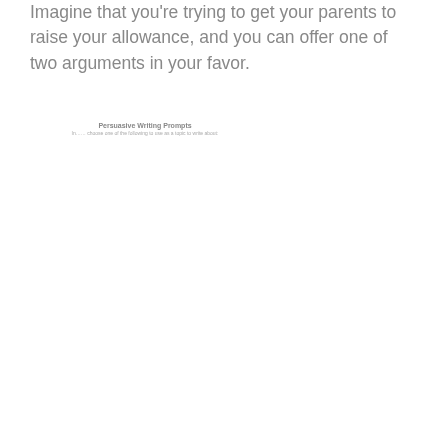Imagine that you're trying to get your parents to raise your allowance, and you can offer one of two arguments in your favor.
[Figure (other): A small thumbnail image or text block labeled 'Persuasive Writing Prompts' with a subtitle line below it.]